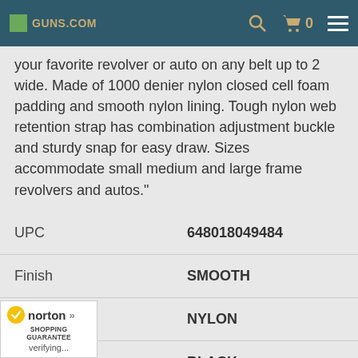GUNS.com | [search] [cart 0] [menu]
your favorite revolver or auto on any belt up to 2 wide. Made of 1000 denier nylon closed cell foam padding and smooth nylon lining. Tough nylon web retention strap has combination adjustment buckle and sturdy snap for easy draw. Sizes accommodate small medium and large frame revolvers and autos."
| Attribute | Value |
| --- | --- |
| UPC | 648018049484 |
| Finish | SMOOTH |
| Material | NYLON |
|  | BLACK |